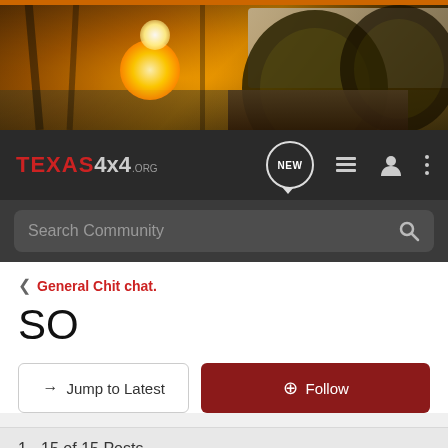[Figure (photo): Off-road vehicle banner with glowing sparks/lights on a dirt trail through trees, viewed from low angle showing tires]
TEXAS 4x4 .ORG — navigation bar with NEW, list, user, and menu icons, plus Search Community bar
< General Chit chat.
SO
→ Jump to Latest
+ Follow
1 - 15 of 15 Posts
Rastus · Mas Tequila 🇺🇸
Joined Nov 15, 2002 · 18,252 Posts